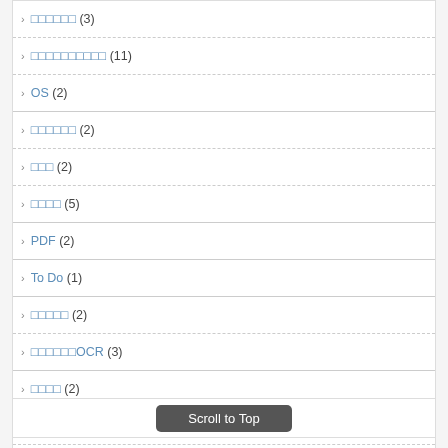□□□□□□ (3)
□□□□□□□□□□ (11)
OS (2)
□□□□□□ (2)
□□□ (2)
□□□□ (5)
PDF (2)
To Do (1)
□□□□□ (2)
□□□□□□OCR (3)
□□□□ (2)
□□□□□□Lifetime Subscription□ (10)
□□□ (1)
Scroll to Top